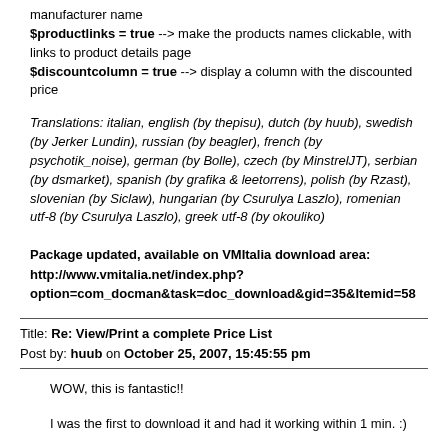manufacturer name
$productlinks = true --> make the products names clickable, with links to product details page
$discountcolumn = true --> display a column with the discounted price
Translations: italian, english (by thepisu), dutch (by huub), swedish (by Jerker Lundin), russian (by beagler), french (by psychotik_noise), german (by Bolle), czech (by MinstrelJT), serbian (by dsmarket), spanish (by grafika & leetorrens), polish (by Rzast), slovenian (by Siclaw), hungarian (by Csurulya Laszlo), romenian utf-8 (by Csurulya Laszlo), greek utf-8 (by okouliko)
Package updated, available on VMItalia download area: http://www.vmitalia.net/index.php?option=com_docman&task=doc_download&gid=35&Itemid=58
Title: Re: View/Print a complete Price List
Post by: huub on October 25, 2007, 15:45:55 pm
WOW, this is fantastic!!

I was the first to download it and had it working within 1 min. :)

One question .....